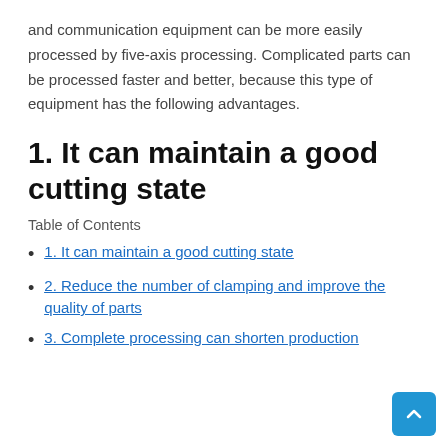and communication equipment can be more easily processed by five-axis processing. Complicated parts can be processed faster and better, because this type of equipment has the following advantages.
1. It can maintain a good cutting state
Table of Contents
1. It can maintain a good cutting state
2. Reduce the number of clamping and improve the quality of parts
3. Complete processing can shorten production